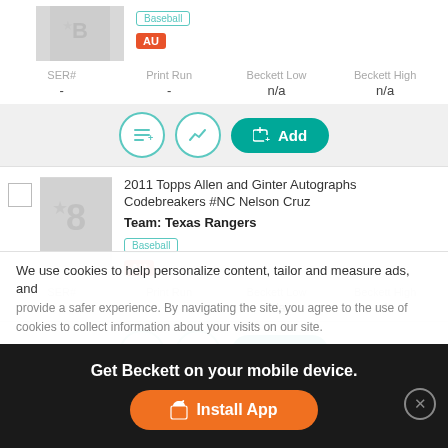Baseball
AU
| SER# | Print Run | Beckett Low | Beckett High |
| --- | --- | --- | --- |
| - | - | n/a | n/a |
Add
2011 Topps Allen and Ginter Autographs Codebreakers #NC Nelson Cruz
Team: Texas Rangers
Baseball
AU
| SER# | Print Run | Beckett Low | Beckett High |
| --- | --- | --- | --- |
| - | - | n/a | n/a |
Add
2011 Topps Allen and Ginter Autographs Codebreakers #RH Roy Halladay
We use cookies to help personalize content, tailor and measure ads, and provide a safer experience. By navigating the site, you agree to the use of cookies to collect information about your visits on our site.
Get Beckett on your mobile device.
Install App